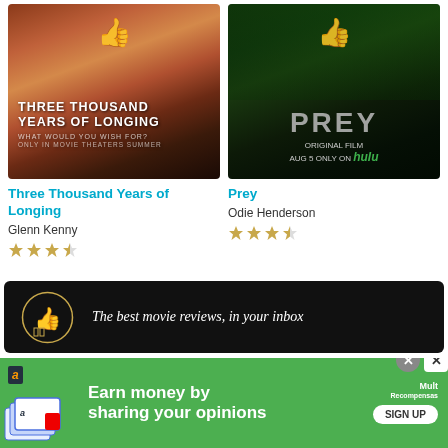[Figure (photo): Movie poster for Three Thousand Years of Longing with thumbs up icon overlay]
[Figure (photo): Movie poster for Prey (Hulu original film) with thumbs up icon overlay]
Three Thousand Years of Longing
Glenn Kenny
[Figure (other): 3.5 star rating out of 5]
Prey
Odie Henderson
[Figure (other): 3.5 star rating out of 5]
[Figure (infographic): Newsletter signup banner: The best movie reviews, in your inbox]
[Figure (infographic): Advertisement: Earn money by sharing your opinions - MRT Recompensas SIGN UP]